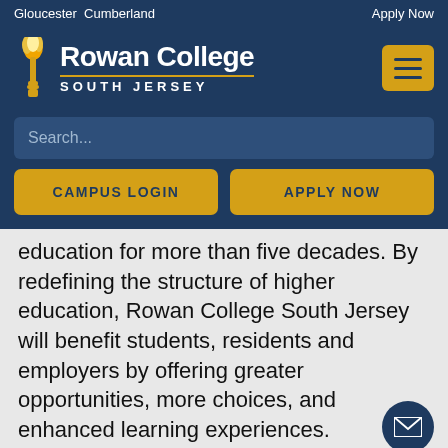Gloucester  Cumberland    Apply Now
[Figure (logo): Rowan College South Jersey logo with torch icon]
Search...
CAMPUS LOGIN
APPLY NOW
education for more than five decades. By redefining the structure of higher education, Rowan College South Jersey will benefit students, residents and employers by offering greater opportunities, more choices, and enhanced learning experiences.
With the combining of the two colleges, Rowan